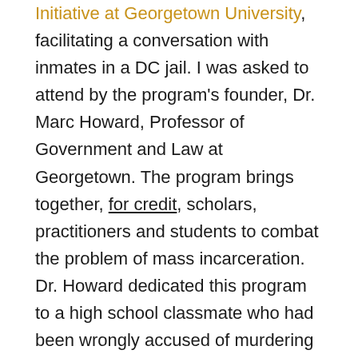Initiative at Georgetown University, facilitating a conversation with inmates in a DC jail. I was asked to attend by the program's founder, Dr. Marc Howard, Professor of Government and Law at Georgetown. The program brings together, for credit, scholars, practitioners and students to combat the problem of mass incarceration. Dr. Howard dedicated this program to a high school classmate who had been wrongly accused of murdering his parents.
I met Marc at a Convergence meeting where I serve on the Leadership Council and Marc was a keynote speaker. Convergence is a smart and